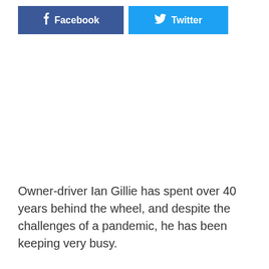[Figure (other): Facebook and Twitter share buttons]
Owner-driver Ian Gillie has spent over 40 years behind the wheel, and despite the challenges of a pandemic, he has been keeping very busy.